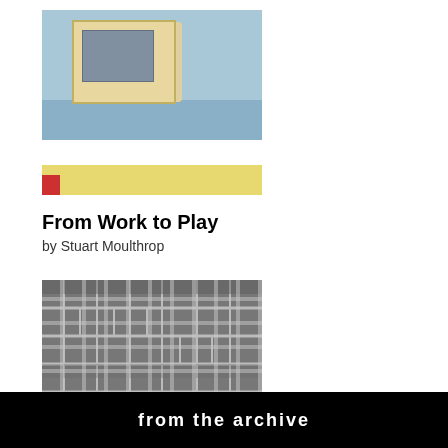[Figure (photo): Photo of a room interior with a device mounted on a light blue wall, a white geometric form below it, and a yellow surface at the bottom. Warm and cool tones.]
From Work to Play
by Stuart Moulthrop
[Figure (photo): Black and white photo showing a textured stone or brick wall surface with a grid-like pattern, and vertical dripping marks at the bottom.]
Critical Simulation
by Pat Harrigan
from the archive